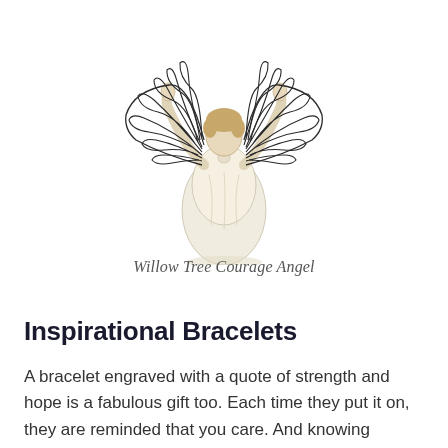[Figure (illustration): Willow Tree Courage Angel figurine — a cream-colored sculpted angel figure with arms raised upward and wire decorative wings spread wide, facing away from viewer.]
Willow Tree Courage Angel
Inspirational Bracelets
A bracelet engraved with a quote of strength and hope is a fabulous gift too. Each time they put it on, they are reminded that you care. And knowing someone cares makes all the difference.